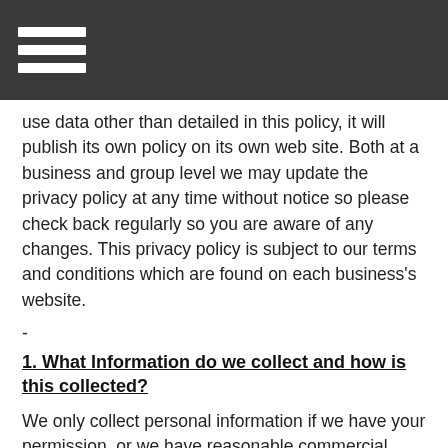use data other than detailed in this policy, it will publish its own policy on its own web site. Both at a business and group level we may update the privacy policy at any time without notice so please check back regularly so you are aware of any changes. This privacy policy is subject to our terms and conditions which are found on each business's website.
-
1. What Information do we collect and how is this collected?
We only collect personal information if we have your permission, or we have reasonable commercial reasons for doing this, such as collecting information to process event registrations or to supply you with services. We will only collect the minimum amount of information we